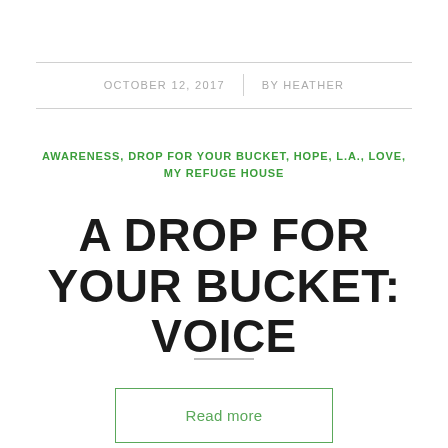OCTOBER 12, 2017 | BY HEATHER
AWARENESS, DROP FOR YOUR BUCKET, HOPE, L.A., LOVE, MY REFUGE HOUSE
A DROP FOR YOUR BUCKET: VOICE
Read more